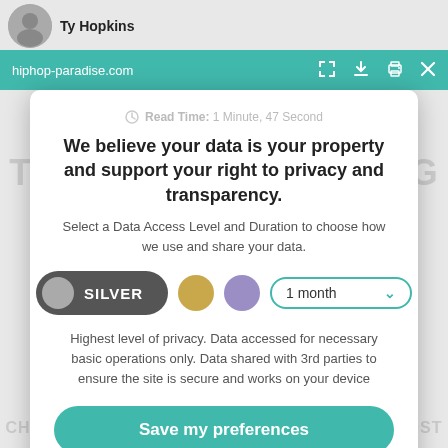Ty Hopkins | hiphop-paradise.com
We believe your data is your property and support your right to privacy and transparency.
Select a Data Access Level and Duration to choose how we use and share your data.
[Figure (infographic): Privacy consent controls: silver toggle pill selected, gold circle option, purple circle option, 1 month dropdown selector]
Highest level of privacy. Data accessed for necessary basic operations only. Data shared with 3rd parties to ensure the site is secure and works on your device
Save my preferences
Customize
Privacy policy